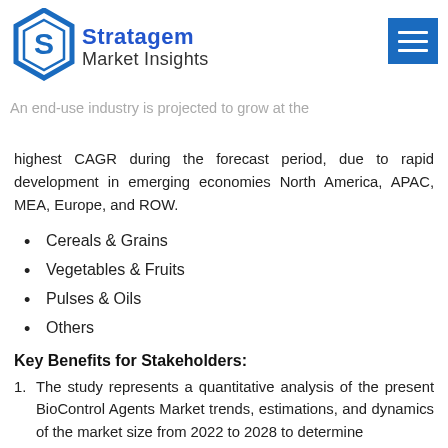Stratagem Market Insights
An end-use industry is projected to grow at the highest CAGR during the forecast period, due to rapid development in emerging economies North America, APAC, MEA, Europe, and ROW.
Cereals & Grains
Vegetables & Fruits
Pulses & Oils
Others
Key Benefits for Stakeholders:
1. The study represents a quantitative analysis of the present BioControl Agents Market trends, estimations, and dynamics of the market size from 2022 to 2028 to determine